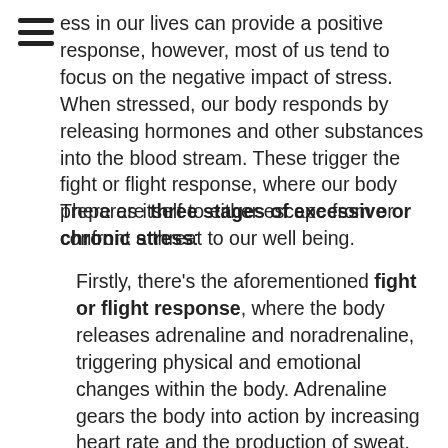ess in our lives can provide a positive response, however, most of us tend to focus on the negative impact of stress. When stressed, our body responds by releasing hormones and other substances into the blood stream. These trigger the fight or flight response, where our body prepares itself to either escape from or confront a threat to our well being.
There are three stages of excessive or chronic stress:
Firstly, there's the aforementioned fight or flight response, where the body releases adrenaline and noradrenaline, triggering physical and emotional changes within the body. Adrenaline gears the body into action by increasing heart rate and the production of sweat. This stress/anxiety response also switches off any systems in the body which are not essential for short term, immediate survival. This means that digestion, sex drive and the immune system, which are all to do with long term survival, get put on hold while the stress/anxiety